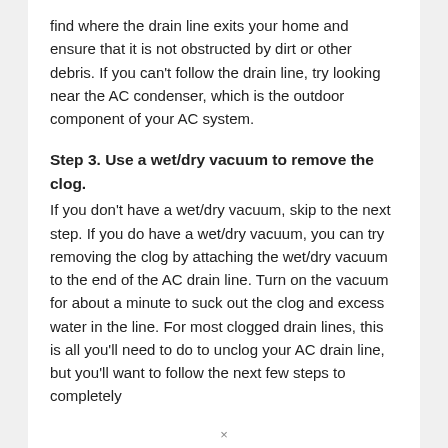find where the drain line exits your home and ensure that it is not obstructed by dirt or other debris. If you can't follow the drain line, try looking near the AC condenser, which is the outdoor component of your AC system.
Step 3. Use a wet/dry vacuum to remove the clog.
If you don't have a wet/dry vacuum, skip to the next step. If you do have a wet/dry vacuum, you can try removing the clog by attaching the wet/dry vacuum to the end of the AC drain line. Turn on the vacuum for about a minute to suck out the clog and excess water in the line. For most clogged drain lines, this is all you'll need to do to unclog your AC drain line, but you'll want to follow the next few steps to completely
×